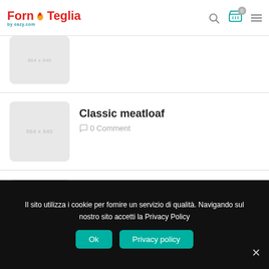FornTeglia - navigation header with logo, search, cart, and menu icons
[Figure (screenshot): Partially visible recipe thumbnail image placeholder (top-cropped)]
Classic meatloaf
0 Comment
[Figure (screenshot): Recipe thumbnail image placeholder for Winter green salad]
Winter green salad
0 Comment
Il sito utilizza i cookie per fornire un servizio di qualità. Navigando sul nostro sito accetti la Privacy Policy